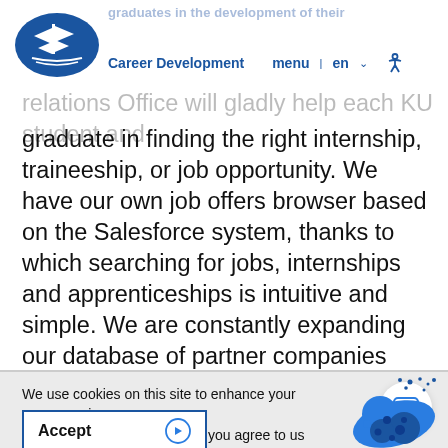Career Development | menu | en | [accessibility icon]
relations Office will gladly help each KU student and graduate in finding the right internship, traineeship, or job opportunity. We have our own job offers browser based on the Salesforce system, thanks to which searching for jobs, internships and apprenticeships is intuitive and simple. We are constantly expanding our database of partner companies based primarily on cooperation agreements.
We use cookies on this site to enhance your user experience
By clicking the Accept button, you agree to us doing so.
Accept